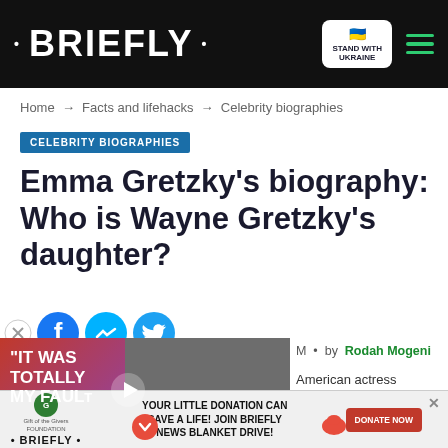• BRIEFLY •  [STAND WITH UKRAINE] [menu]
Home → Facts and lifehacks → Celebrity biographies
CELEBRITY BIOGRAPHIES
Emma Gretzky's biography: Who is Wayne Gretzky's daughter?
[Figure (screenshot): Social sharing icons: Facebook close/share, Messenger, Twitter]
[Figure (screenshot): Video thumbnail with text 'IT WAS TOTALLY MY FAULT' and play button overlay, showing man in wheelchair]
by Rodah Mogeni
American actress popularly [known for her role as her]self in Palo Alto, a teen drama [series. Apart from] being Wayne Gretzky's [daughter, he is a National] Hockey League player
[Figure (screenshot): Bottom advertisement banner: Gift of the Givers / BRIEFLY logo, 'YOUR LITTLE DONATION CAN SAVE A LIFE! JOIN BRIEFLY NEWS BLANKET DRIVE!' with DONATE NOW button]